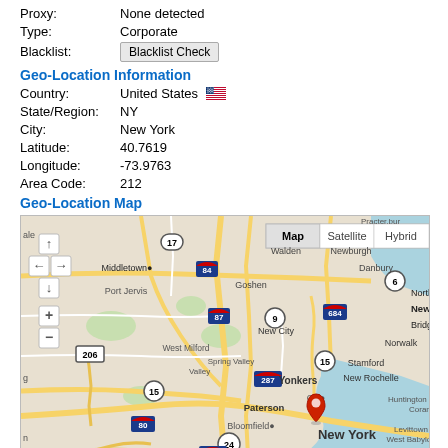Proxy: None detected
Type: Corporate
Blacklist: Blacklist Check
Geo-Location Information
Country: United States
State/Region: NY
City: New York
Latitude: 40.7619
Longitude: -73.9763
Area Code: 212
Geo-Location Map
[Figure (map): Google Map centered on New York City showing surrounding region including New Jersey, Connecticut, showing highway routes and a red location pin dropped on New York City. Map/Satellite/Hybrid toggle visible at top right.]